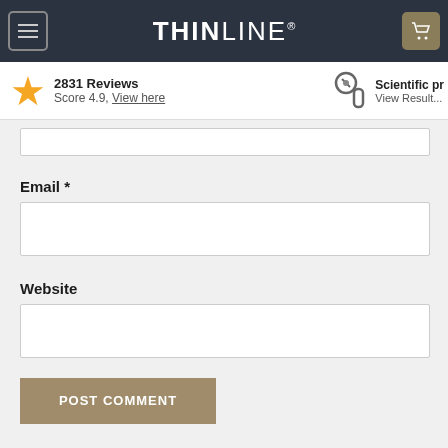THINLINE®
2831 Reviews Score 4.9, View here
Scientific pr... View Result...
Email *
Website
POST COMMENT